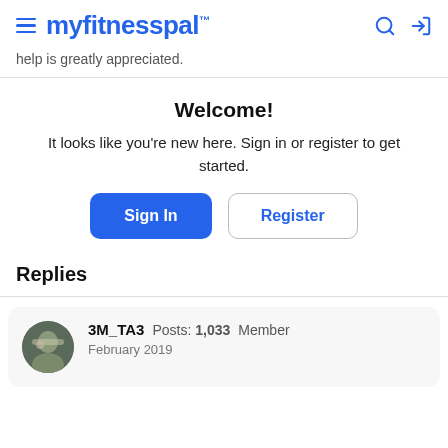myfitnesspal
help is greatly appreciated.
Welcome!
It looks like you're new here. Sign in or register to get started.
Sign In | Register
Replies
3M_TA3  Posts: 1,033  Member  February 2019